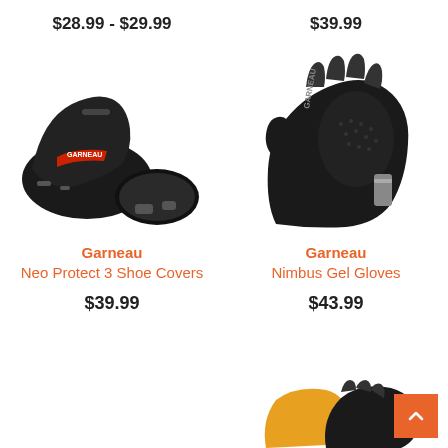$28.99 - $29.99
[Figure (photo): Garneau Neo Protect 3 Shoe Covers - black cycling shoe covers shown with a cycling shoe]
Garneau
Neo Protect 3 Shoe Covers
$39.99
$39.99
[Figure (photo): Garneau Nimbus Gel Gloves - black fingerless cycling gloves]
Garneau
Nimbus Gel Gloves
$43.99
[Figure (photo): Partial view of cycling gloves at bottom of page]